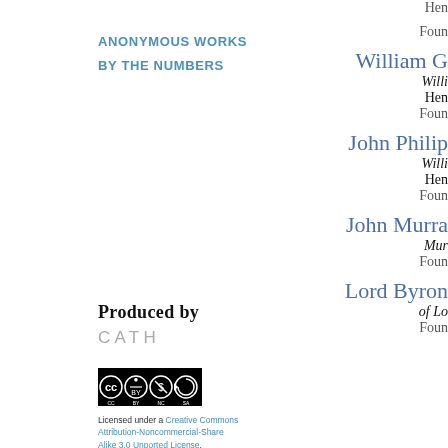ANONYMOUS WORKS
BY THE NUMBERS
Hen
Foun
William G
Willi
Hen
Foun
John Philip
Willi
Hen
Foun
John Murray
Mur
Foun
Lord Byron
of Lo
Foun
[Figure (logo): Creative Commons CC BY NC SA license logo]
Licensed under a Creative Commons Attribution-Noncommercial-Share Alike 3.0 Unported License.
Produced by
CATH